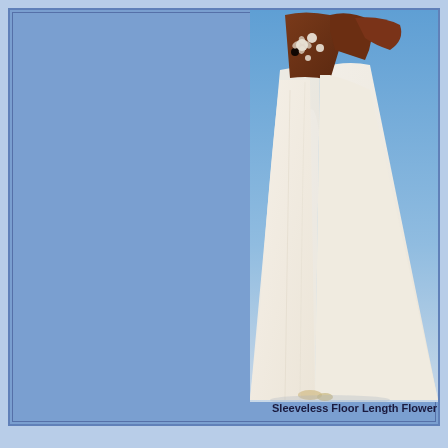[Figure (photo): A model wearing a sleeveless floor-length white flower girl or bridesmaid dress. The dress features floral embellishments at the bodice. The photo is cropped showing the body from upper chest to feet against a light blue background.]
Sleeveless Floor Length Flower